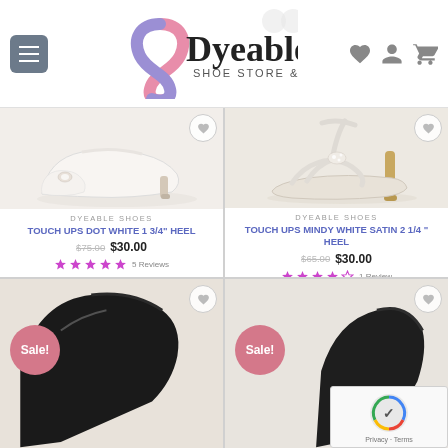[Figure (logo): Dyeable Shoe Store & More logo with stylized S in pink/purple]
[Figure (photo): White satin kitten heel pump with jewel embellishment - Touch Ups Dot]
DYEABLE SHOES
TOUCH UPS DOT WHITE 1 3/4" HEEL
$75.00  $30.00
★★★★★ 5 Reviews
[Figure (photo): White strappy heeled sandal with rhinestone embellishment - Touch Ups Mindy]
DYEABLE SHOES
TOUCH UPS MINDY WHITE SATIN 2 1/4 " HEEL
$65.00  $30.00
★★★★☆ 1 Review
[Figure (photo): Sale item - dark shoe partially visible, bottom left product card]
[Figure (photo): Sale item - dark shoe partially visible, bottom right product card]